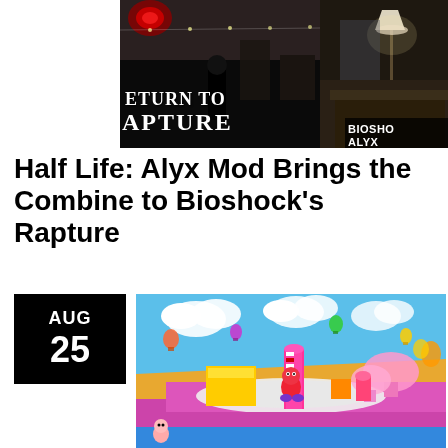[Figure (screenshot): Screenshot from a Half-Life: Alyx mod showing a dark, eerie interior environment with text overlay reading 'RETURN TO RAPTURE' and a 'BIOSHOCK ALYX' watermark in the corner]
Half Life: Alyx Mod Brings the Combine to Bioshock's Rapture
AUG 25
[Figure (screenshot): Screenshot of a colorful, vibrant game environment showing pink, yellow, and blue foam-like platforms with cartoon characters, resembling Fall Guys gameplay]